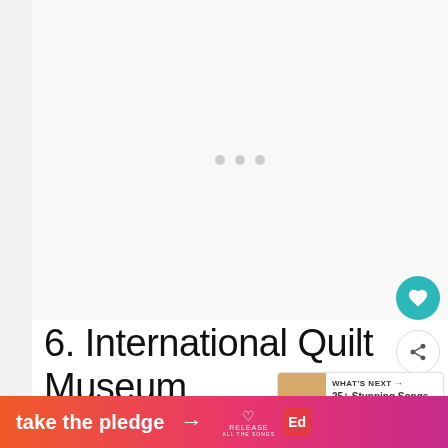[Figure (other): Image slideshow placeholder area with three navigation dots centered in a light gray box]
6. International Quilt Museum
Quilting is a hugely important part of
[Figure (other): What's Next widget thumbnail showing quilt image with label 'WHAT'S NEXT' and text '25+ Stunning Songs about...']
[Figure (other): Bottom banner ad: 'take the pledge →' with RELEASE and Ed logos on gradient orange-pink background]